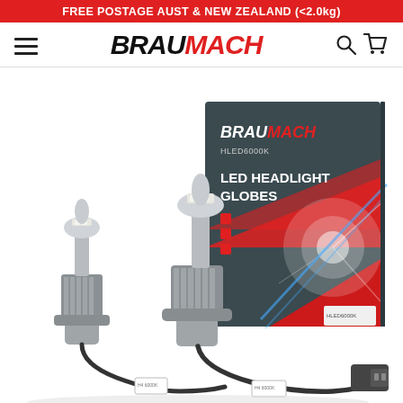FREE POSTAGE AUST & NEW ZEALAND (<2.0kg)
[Figure (logo): BRAUMACH brand logo with hamburger menu icon on left and search/cart icons on right]
[Figure (photo): Two BRAUMACH HLED6000K LED Headlight Globes (H4 bulbs with wiring harnesses) displayed in front of a BRAUMACH branded product box labeled LED HEADLIGHT GLOBES]